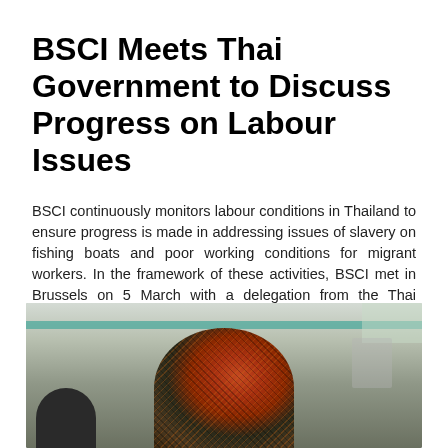BSCI Meets Thai Government to Discuss Progress on Labour Issues
BSCI continuously monitors labour conditions in Thailand to ensure progress is made in addressing issues of slavery on fishing boats and poor working conditions for migrant workers. In the framework of these activities, BSCI met in Brussels on 5 March with a delegation from the Thai government and representatives from the Thai Tuna Industry Association and Labour Rights Promotion Network Foundation to discuss the role of the Thai authorities in enforcing labour laws and human rights.
+ read more
[Figure (photo): Photo of a person from behind wearing a colorful patterned headscarf/head covering in what appears to be a factory or workshop setting with a teal/green bar visible in the background and other people present.]